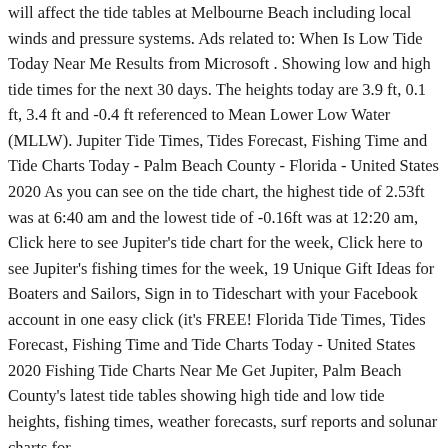will affect the tide tables at Melbourne Beach including local winds and pressure systems. Ads related to: When Is Low Tide Today Near Me Results from Microsoft . Showing low and high tide times for the next 30 days. The heights today are 3.9 ft, 0.1 ft, 3.4 ft and -0.4 ft referenced to Mean Lower Low Water (MLLW). Jupiter Tide Times, Tides Forecast, Fishing Time and Tide Charts Today - Palm Beach County - Florida - United States 2020 As you can see on the tide chart, the highest tide of 2.53ft was at 6:40 am and the lowest tide of -0.16ft was at 12:20 am, Click here to see Jupiter's tide chart for the week, Click here to see Jupiter's fishing times for the week, 19 Unique Gift Ideas for Boaters and Sailors, Sign in to Tideschart with your Facebook account in one easy click (it's FREE! Florida Tide Times, Tides Forecast, Fishing Time and Tide Charts Today - United States 2020 Fishing Tide Charts Near Me Get Jupiter, Palm Beach County's latest tide tables showing high tide and low tide heights, fishing times, weather forecasts, surf reports and solunar charts for